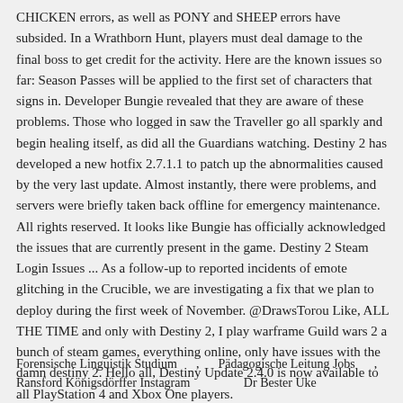CHICKEN errors, as well as PONY and SHEEP errors have subsided. In a Wrathborn Hunt, players must deal damage to the final boss to get credit for the activity. Here are the known issues so far: Season Passes will be applied to the first set of characters that signs in. Developer Bungie revealed that they are aware of these problems. Those who logged in saw the Traveller go all sparkly and begin healing itself, as did all the Guardians watching. Destiny 2 has developed a new hotfix 2.7.1.1 to patch up the abnormalities caused by the very last update. Almost instantly, there were problems, and servers were briefly taken back offline for emergency maintenance. All rights reserved. It looks like Bungie has officially acknowledged the issues that are currently present in the game. Destiny 2 Steam Login Issues ... As a follow-up to reported incidents of emote glitching in the Crucible, we are investigating a fix that we plan to deploy during the first week of November. @DrawsTorou Like, ALL THE TIME and only with Destiny 2, I play warframe Guild wars 2 a bunch of steam games, everything online, only have issues with the damn destiny 2. Hello all, Destiny Update 2.4.0 is now available to all PlayStation 4 and Xbox One players.
Forensische Linguistik Studium     ,     Pädagogische Leitung Jobs     , Ransford Königsdörffer Instagram                    Dr Bester Uke